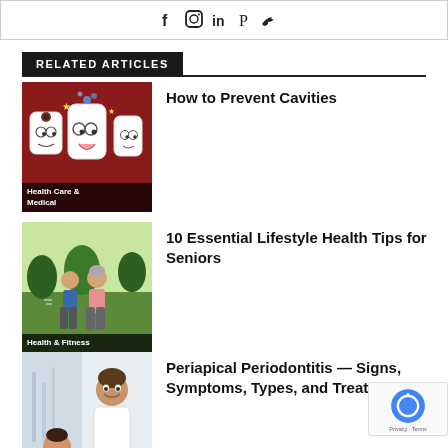[Figure (other): Social media icons bar (Facebook, Instagram, LinkedIn, Pinterest, Twitter) at top of page]
RELATED ARTICLES
[Figure (illustration): Cartoon illustration of tooth characters with cavities, one looking distressed. Label: Health Care & Medical]
How to Prevent Cavities
[Figure (photo): Photo of elderly couple jogging outdoors. Label: Health & Fitness]
10 Essential Lifestyle Health Tips for Seniors
[Figure (photo): Photo of a smiling male dentist with patient. Label: Health Care & Medical]
Periapical Periodontitis — Signs, Symptoms, Types, and Treatment